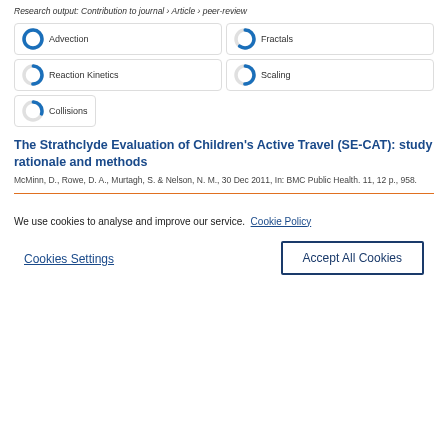Research output: Contribution to journal › Article › peer-review
[Figure (infographic): Five badge pills with donut-style icons showing topics: Advection (100%), Fractals (~60%), Reaction Kinetics (~50%), Scaling (~50%), Collisions (~30%)]
The Strathclyde Evaluation of Children's Active Travel (SE-CAT): study rationale and methods
McMinn, D., Rowe, D. A., Murtagh, S. & Nelson, N. M., 30 Dec 2011, In: BMC Public Health. 11, 12 p., 958.
We use cookies to analyse and improve our service. Cookie Policy
Cookies Settings
Accept All Cookies